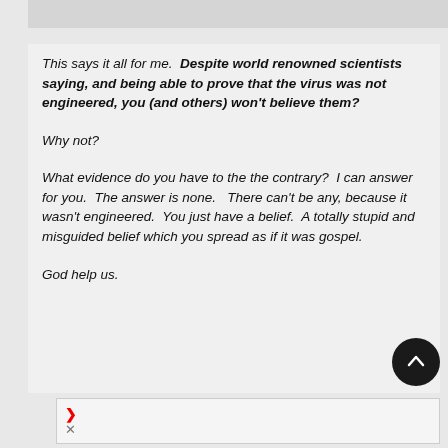This says it all for me.  Despite world renowned scientists saying, and being able to prove that the virus was not engineered, you (and others) won't believe them?

Why not?

What evidence do you have to the the contrary?  I can answer for you.  The answer is none.   There can't be any, because it wasn't engineered.  You just have a belief.  A totally stupid and misguided belief which you spread as if it was gospel.

God help us.